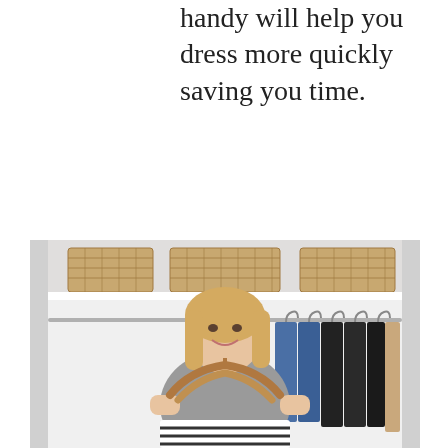handy will help you dress more quickly saving you time.
[Figure (photo): A smiling blonde woman standing in an organized closet, holding wooden hangers and a striped garment. Behind her are hanging clothes including jeans, black tops, and a tan jacket, with wicker storage baskets on the shelf above.]